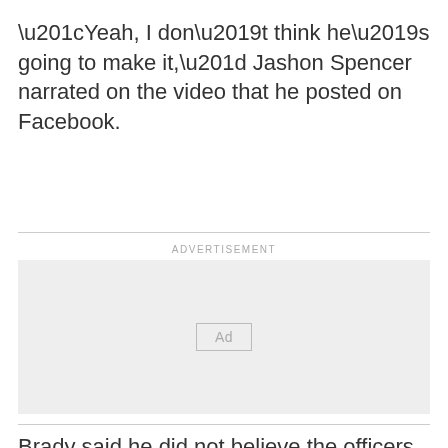“Yeah, I don’t think he’s going to make it,” Jashon Spencer narrated on the video that he posted on Facebook.
[Figure (other): Advertisement placeholder box with 'Ad' button label and 'ADVERTISEMENT' text above]
Brady said he did not believe the officers